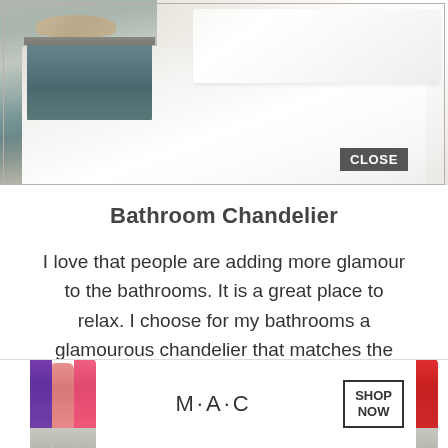[Figure (photo): Bedroom photo showing a bed with white linens, white pillows, a teal/blue nightstand, and decorative hats on the nightstand]
Bathroom Chandelier
I love that people are adding more glamour to the bathrooms. It is a great place to relax. I choose for my bathrooms a glamourous chandelier that matches the bedroom one. Which is w[CLOSE]ck these[AD OVERLAY]ystal
[Figure (screenshot): MAC cosmetics advertisement overlay showing lipsticks, MAC logo, SHOP NOW button, and a CLOSE button]